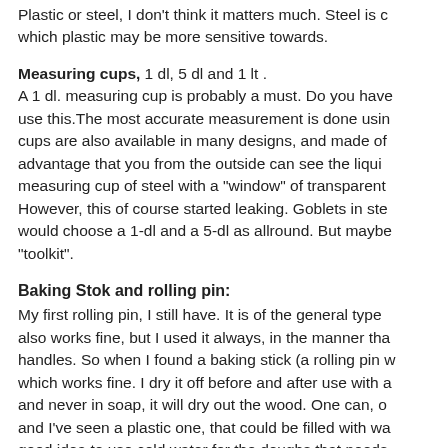Plastic or steel, I don't think it matters much. Steel is c which plastic may be more sensitive towards.
Measuring cups, 1 dl, 5 dl and 1 lt . A 1 dl. measuring cup is probably a must. Do you have use this.The most accurate measurement is done usin cups are also available in many designs, and made of advantage that you from the outside can see the liqui measuring cup of steel with a "window" of transparent However, this of course started leaking. Goblets in ste would choose a 1-dl and a 5-dl as allround. But maybe "toolkit".
Baking Stok and rolling pin:
My first rolling pin, I still have. It is of the general type also works fine, but I used it always, in the manner tha handles. So when I found a baking stick (a rolling pin w which works fine. I dry it off before and after use with a and never in soap, it will dry out the wood. One can, o and I've seen a plastic one, that could be filled with wa good idea to use cold water for the doughs that needs few ice cubes inside it, or put the whole thing in the de
Kneading trough